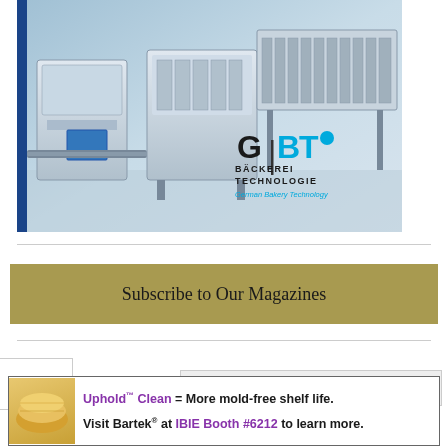[Figure (photo): Advertisement photo showing industrial bakery machinery/equipment in a factory setting with GBT (German Bakery Technology) logo. Blue stripe on left side. Machines are metallic/stainless steel conveyor and processing units.]
Subscribe to Our Magazines
Uphold™ Clean = More mold-free shelf life. Visit Bartek® at IBIE Booth #6212 to learn more.